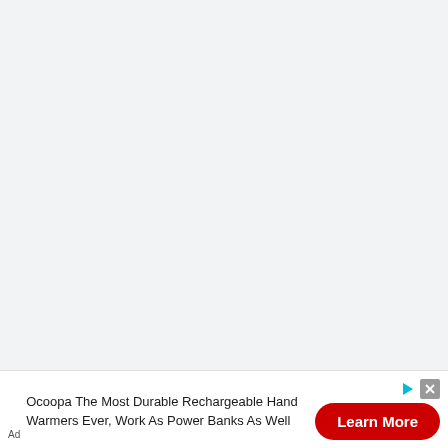[Figure (other): Large blank light gray area occupying the majority of the page, representing an empty content/loading area of a webpage.]
Ad Ocoopa The Most Durable Rechargeable Hand Warmers Ever, Work As Power Banks As Well
[Figure (other): Red 'Learn More' button with rounded corners, part of an advertisement banner at the bottom of the page. Also includes a small triangular play-like ad indicator icon and a gray X/close button.]